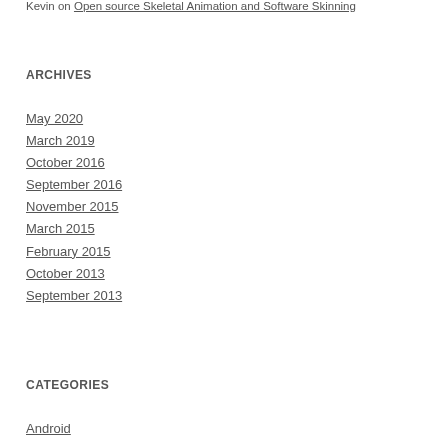Kevin on Open source Skeletal Animation and Software Skinning
ARCHIVES
May 2020
March 2019
October 2016
September 2016
November 2015
March 2015
February 2015
October 2013
September 2013
CATEGORIES
Android